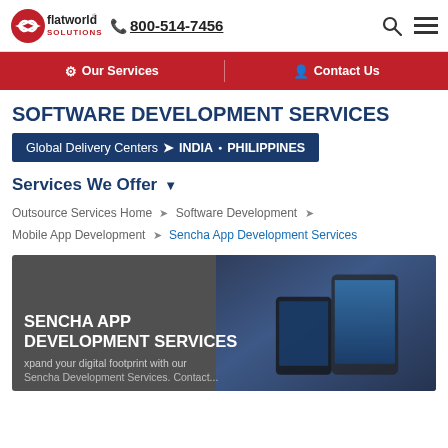flatworld solutions | 800-514-7456
Our Services | Contact Us
SOFTWARE DEVELOPMENT SERVICES
Global Delivery Centers > INDIA • PHILIPPINES
Services We Offer
Outsource Services Home > Software Development > Mobile App Development > Sencha App Development Services
[Figure (screenshot): Banner for Sencha App Development Services with dark background and device imagery. Title: SENCHA APP DEVELOPMENT SERVICES. Text: xpand your digital footprint with our Sencha Development Services. Contact...]